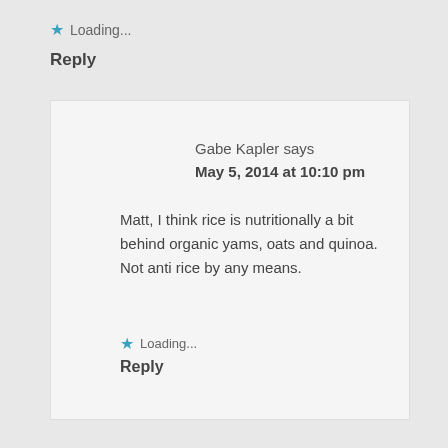★ Loading...
Reply
Gabe Kapler says
May 5, 2014 at 10:10 pm
Matt, I think rice is nutritionally a bit behind organic yams, oats and quinoa. Not anti rice by any means.
★ Loading...
Reply